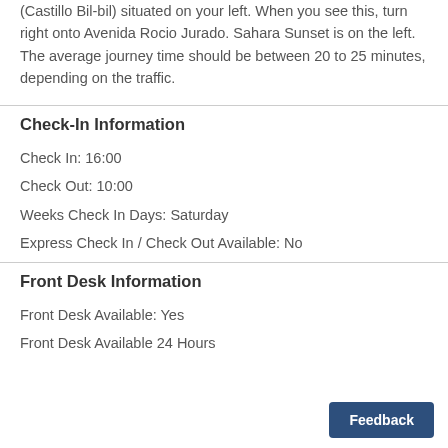(Castillo Bil-bil) situated on your left. When you see this, turn right onto Avenida Rocio Jurado. Sahara Sunset is on the left. The average journey time should be between 20 to 25 minutes, depending on the traffic.
Check-In Information
Check In: 16:00
Check Out: 10:00
Weeks Check In Days: Saturday
Express Check In / Check Out Available: No
Front Desk Information
Front Desk Available: Yes
Front Desk Available 24 Hours